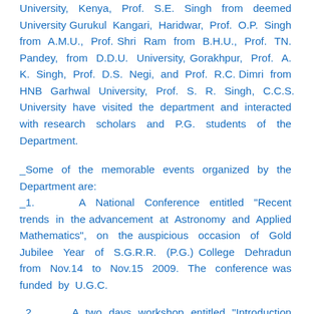University, Kenya, Prof. S.E. Singh from deemed University Gurukul Kangari, Haridwar, Prof. O.P. Singh from A.M.U., Prof. Shri Ram from B.H.U., Prof. TN. Pandey, from D.D.U. University, Gorakhpur, Prof. A. K. Singh, Prof. D.S. Negi, and Prof. R.C. Dimri from HNB Garhwal University, Prof. S. R. Singh, C.C.S. University have visited the department and interacted with research scholars and P.G. students of the Department.
Some of the memorable events organized by the Department are:
1.        A National Conference entitled "Recent trends in the advancement at Astronomy and Applied Mathematics", on the auspicious occasion of Gold Jubilee Year of S.G.R.R. (P.G.) College Dehradun from Nov.14 to Nov.15 2009. The conference was funded by U.G.C.
2.        A two days workshop entitled "Introduction to Astronomy and Galilio", in the college from Nov.14 to Nov.15